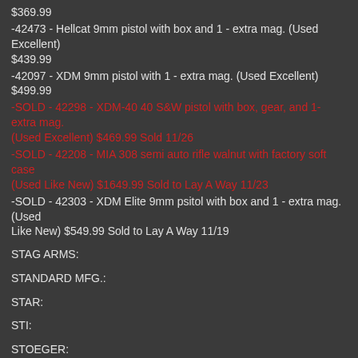$369.99
-42473 - Hellcat 9mm pistol with box and 1 - extra mag. (Used Excellent) $439.99
-42097 - XDM 9mm pistol with 1 - extra mag. (Used Excellent) $499.99
-SOLD - 42298 - XDM-40 40 S&W pistol with box, gear, and 1- extra mag. (Used Excellent) $469.99 Sold 11/26
-SOLD - 42208 - MIA 308 semi auto rifle walnut with factory soft case (Used Like New) $1649.99 Sold to Lay A Way 11/23
-SOLD - 42303 - XDM Elite 9mm psitol with box and 1 - extra mag. (Used Like New) $549.99 Sold to Lay A Way 11/19
STAG ARMS:
STANDARD MFG.:
STAR:
STI:
STOEGER: